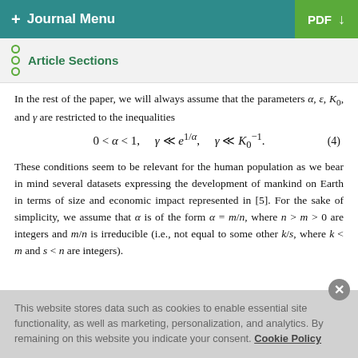+ Journal Menu   PDF ↓
Article Sections
In the rest of the paper, we will always assume that the parameters α, ε, K₀, and γ are restricted to the inequalities
These conditions seem to be relevant for the human population as we bear in mind several datasets expressing the development of mankind on Earth in terms of size and economic impact represented in [5]. For the sake of simplicity, we assume that α is of the form α = m/n, where n > m > 0 are integers and m/n is irreducible (i.e., not equal to some other k/s, where k < m and s < n are integers).
This website stores data such as cookies to enable essential site functionality, as well as marketing, personalization, and analytics. By remaining on this website you indicate your consent. Cookie Policy